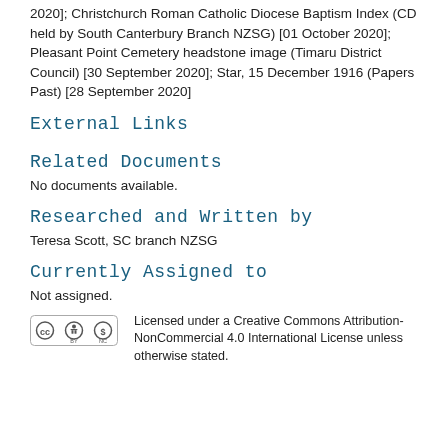2020]; Christchurch Roman Catholic Diocese Baptism Index (CD held by South Canterbury Branch NZSG) [01 October 2020]; Pleasant Point Cemetery headstone image (Timaru District Council) [30 September 2020]; Star, 15 December 1916 (Papers Past) [28 September 2020]
External Links
Related Documents
No documents available.
Researched and Written by
Teresa Scott, SC branch NZSG
Currently Assigned to
Not assigned.
[Figure (logo): Creative Commons CC BY NC license badge]
Licensed under a Creative Commons Attribution-NonCommercial 4.0 International License unless otherwise stated.